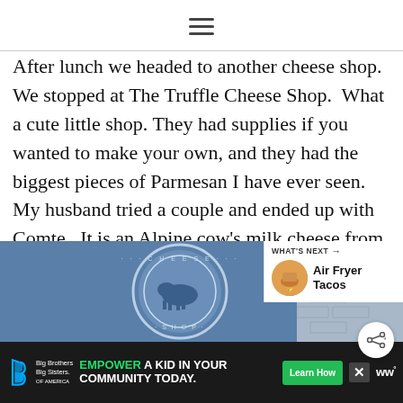[hamburger menu icon]
After lunch we headed to another cheese shop.  We stopped at The Truffle Cheese Shop.  What a cute little shop. They had supplies if you wanted to make your own, and they had the biggest pieces of Parmesan I have ever seen.  My husband tried a couple and ended up with Comte.  It is an Alpine cow’s milk cheese from Eastern France.
[Figure (photo): Blue circular logo/sign of a cheese shop with a cow illustration, mounted on a brick wall. A 'What's Next' sidebar shows Air Fryer Tacos thumbnail.]
[Figure (infographic): Advertisement bar: Big Brothers Big Sisters logo, 'EMPOWER A KID IN YOUR COMMUNITY TODAY.' text, Learn How button, close button, WW logo]